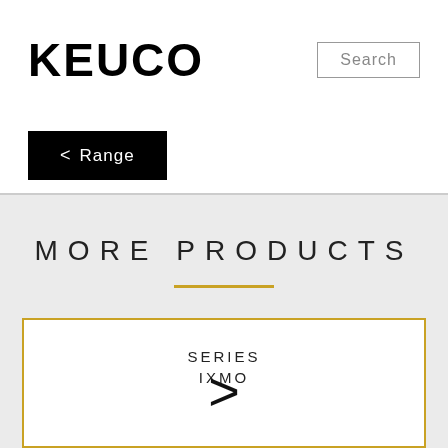KEUCO
Search
< Range
MORE PRODUCTS
SERIES
IXMO